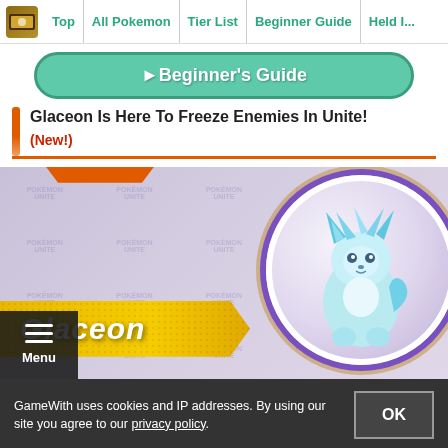Top | All Pokemon | Tier List | Beginner Guide | Held I...
►Beginner's Guide
Glaceon Is Here To Freeze Enemies In Unite!
(New!)
[Figure (screenshot): Glaceon Pokemon Unite promotional banner with gold ribbon showing 'Glaceon' name, Pokemon Unite watermarks in background, and Glaceon character in circular badge on right]
GameWith uses cookies and IP addresses. By using our site you agree to our privacy policy.